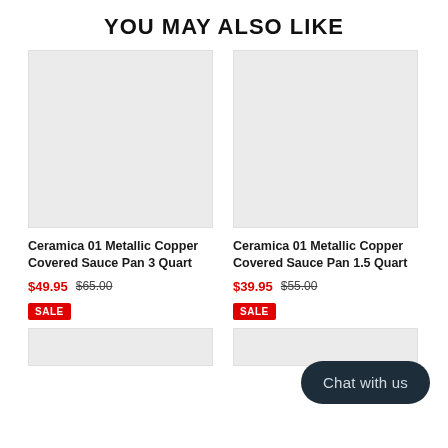YOU MAY ALSO LIKE
[Figure (photo): Product image placeholder (light gray box) for Ceramica 01 Metallic Copper Covered Sauce Pan 3 Quart]
Ceramica 01 Metallic Copper Covered Sauce Pan 3 Quart
$49.95  $65.00
SALE
[Figure (photo): Product image placeholder (light gray box) for Ceramica 01 Metallic Copper Covered Sauce Pan 1.5 Quart]
Ceramica 01 Metallic Copper Covered Sauce Pan 1.5 Quart
$39.95  $55.00
SALE
[Figure (other): Chat with us button overlay]
[Figure (photo): Partial product image placeholder at bottom left]
[Figure (photo): Partial product image placeholder at bottom right]